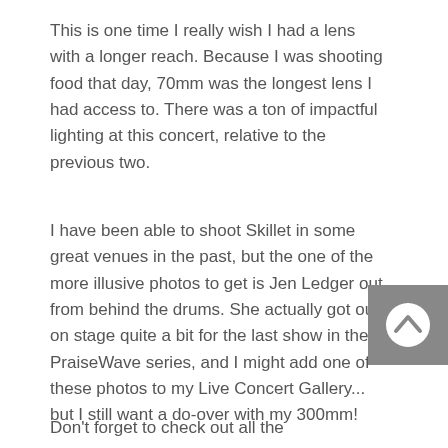This is one time I really wish I had a lens with a longer reach. Because I was shooting food that day, 70mm was the longest lens I had access to. There was a ton of impactful lighting at this concert, relative to the previous two.
I have been able to shoot Skillet in some great venues in the past, but the one of the more illusive photos to get is Jen Ledger out from behind the drums. She actually got out on stage quite a bit for the last show in the PraiseWave series, and I might add one of these photos to my Live Concert Gallery... but I still want a do-over with my 300mm!
Don't forget to check out all the
[Figure (other): Gray scroll-to-top button with upward chevron arrow icon]